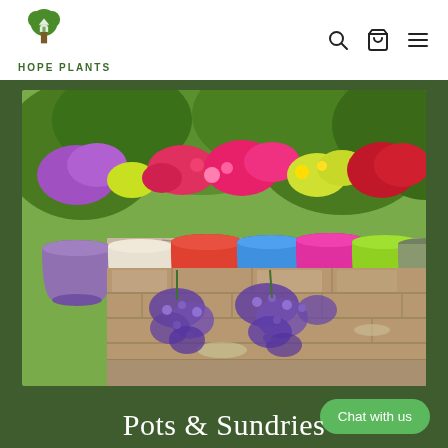HOPE PLANTS
[Figure (photo): Colorful flower pots (purple, white, orange-red, blue, pink/magenta, lime green, sage green, white) lined up on a stone wall ledge with various flowering plants. Purple lobelia cascades down the stone wall below.]
Chat with us
Pots & Sundries